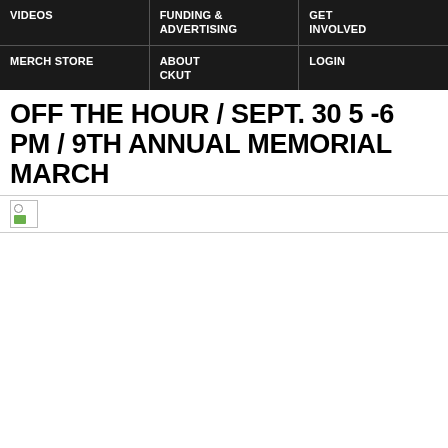VIDEOS | FUNDING & ADVERTISING | GET INVOLVED | MERCH STORE | ABOUT CKUT | LOGIN
OFF THE HOUR / SEPT. 30 5 -6 PM / 9TH ANNUAL MEMORIAL MARCH
[Figure (photo): Small broken/loading image placeholder icon]